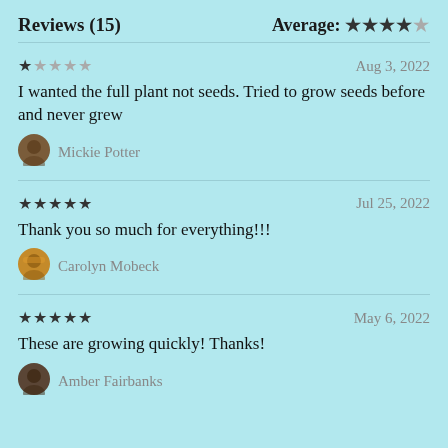Reviews (15)
Average: ★★★★☆
★★★☆☆   Aug 3, 2022
I wanted the full plant not seeds. Tried to grow seeds before and never grew
Mickie Potter
★★★★★   Jul 25, 2022
Thank you so much for everything!!!
Carolyn Mobeck
★★★★★   May 6, 2022
These are growing quickly! Thanks!
Amber Fairbanks